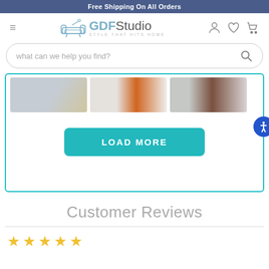Free Shipping On All Orders
[Figure (logo): GDF Studio logo with sofa icon and tagline STYLE THAT HITS HOME]
[Figure (screenshot): Search bar with placeholder text 'what can we help you find?' and search icon]
[Figure (photo): Three thumbnail product images showing furniture legs on reflective floors]
LOAD MORE
Customer Reviews
[Figure (other): Star rating display with 5 outline stars in gold/yellow color]